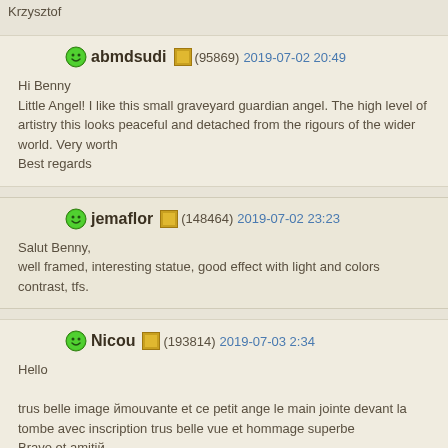Krzysztof
abmdsudi (95869) 2019-07-02 20:49
Hi Benny
Little Angel! I like this small graveyard guardian angel. The high level of artistry this looks peaceful and detached from the rigours of the wider world. Very worth
Best regards
jemaflor (148464) 2019-07-02 23:23
Salut Benny,
well framed, interesting statue, good effect with light and colors contrast, tfs.
Nicou (193814) 2019-07-03 2:34
Hello

trus belle image йmouvante et ce petit ange le main jointe devant la tombe avec inscription trus belle vue et hommage superbe
Bravo et amitiй
Nicou